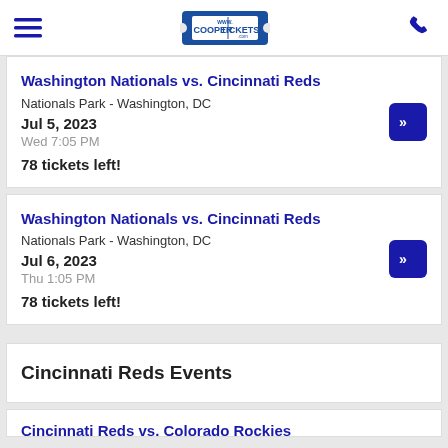Cooper Tickets
Washington Nationals vs. Cincinnati Reds
Nationals Park - Washington, DC
Jul 5, 2023
Wed 7:05 PM
78 tickets left!
Washington Nationals vs. Cincinnati Reds
Nationals Park - Washington, DC
Jul 6, 2023
Thu 1:05 PM
78 tickets left!
Cincinnati Reds Events
Cincinnati Reds vs. Colorado Rockies